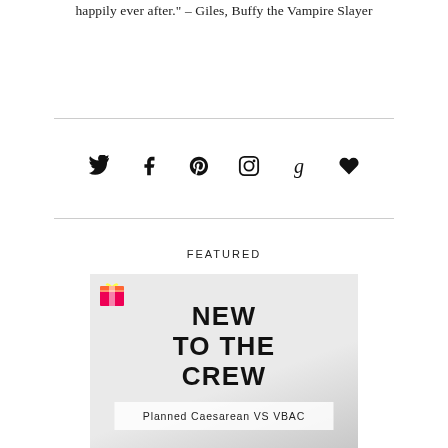happily ever after." – Giles, Buffy the Vampire Slayer
[Figure (infographic): Row of social media icons: Twitter bird, Facebook f, Pinterest p, Instagram camera, Goodreads g, heart/Bloglovin]
FEATURED
[Figure (photo): Photo of a white baby onesie with text 'NEW TO THE CREW' printed on it, with a colorful gift box in the top left corner. Overlaid semi-transparent white banner reads 'Planned Caesarean VS VBAC'.]
Planned Caesarean VS VBAC